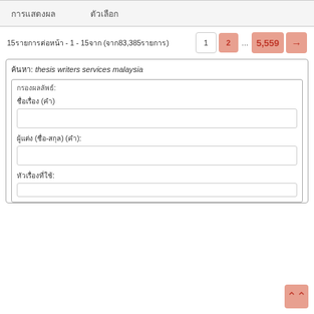| การแสดงผล | ตัวเลือก |
| --- | --- |
15รายการต่อหน้า - 1 - 15จาก (จาก83,385รายการ)
1 2 ... 5,559 →
ค้นหา: thesis writers services malaysia
กรองผลลัพธ์:
ชื่อเรื่อง (คำ)
ผู้แต่ง (ชื่อ-สกุล) (คำ):
หัวเรื่องที่ใช้: